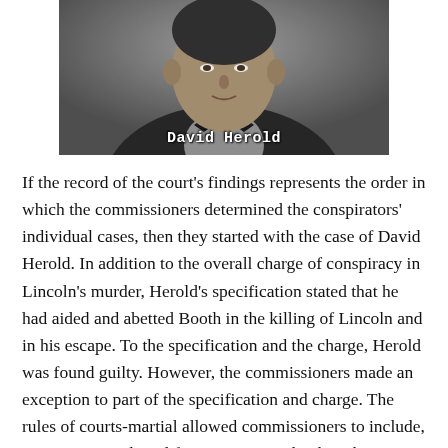[Figure (photo): Black and white photograph of David Herold, a man in 19th century clothing with a bow tie, shown from roughly the chest up. The name 'David Herold' appears in white text overlaid at the bottom of the image.]
If the record of the court's findings represents the order in which the commissioners determined the conspirators' individual cases, then they started with the case of David Herold. In addition to the overall charge of conspiracy in Lincoln's murder, Herold's specification stated that he had aided and abetted Booth in the killing of Lincoln and in his escape. To the specification and the charge, Herold was found guilty. However, the commissioners made an exception to part of the specification and charge. The rules of courts-martial allowed commissioners to include, "exceptions and modifications as may be thought just,"[11]